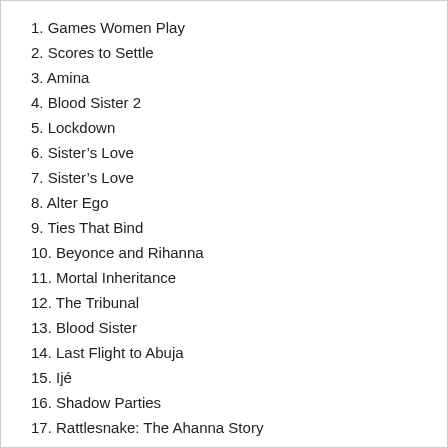1. Games Women Play
2. Scores to Settle
3. Amina
4. Blood Sister 2
5. Lockdown
6. Sister's Love
7. Sister's Love
8. Alter Ego
9. Ties That Bind
10. Beyonce and Rihanna
11. Mortal Inheritance
12. The Tribunal
13. Blood Sister
14. Last Flight to Abuja
15. Ijé
16. Shadow Parties
17. Rattlesnake: The Ahanna Story